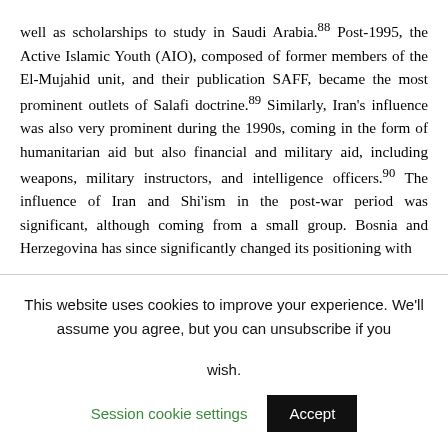well as scholarships to study in Saudi Arabia.88 Post-1995, the Active Islamic Youth (AIO), composed of former members of the El-Mujahid unit, and their publication SAFF, became the most prominent outlets of Salafi doctrine.89 Similarly, Iran's influence was also very prominent during the 1990s, coming in the form of humanitarian aid but also financial and military aid, including weapons, military instructors, and intelligence officers.90 The influence of Iran and Shi'ism in the post-war period was significant, although coming from a small group. Bosnia and Herzegovina has since significantly changed its positioning with...
This website uses cookies to improve your experience. We'll assume you agree, but you can unsubscribe if you wish. Session cookie settings Accept